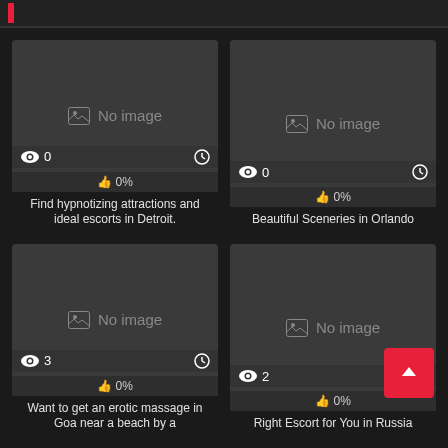[Figure (screenshot): Card with No image placeholder, 0 views, 0% likes]
Find hypnotizing attractions and ideal escorts in Detroit.
[Figure (screenshot): Card with No image placeholder, 0 views, 0% likes]
Beautiful Sceneries in Orlando
[Figure (screenshot): Card with No image placeholder, 3 views, 0% likes]
Want to get an erotic massage in Goa near a beach by a
[Figure (screenshot): Card with No image placeholder, 2 views, 0% likes]
Right Escort for You in Russia